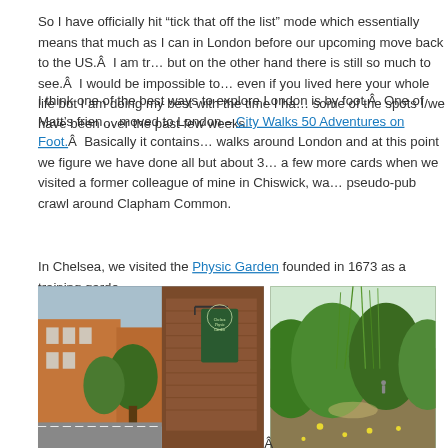So I have officially hit “tick that off the list” mode which essentially means that much as I can in London before our upcoming move back to the US.Â  I am t… but on the other hand there is still so much to see.Â  I would be impossible to… even if you lived here your whole life but I am doing my best with the time I ha… some of the spots I/we have been over the past few weeks.
I think one of the best ways to explore London is by foot.Â  One of Matt’s frie… moved to London – City Walks 50 Adventures on Foot.Â  Basically it contains… walks around London and at this point we figure we have done all but about 3… a few more cards when we visited a former colleague of mine in Chiswick, wa… pseudo-pub crawl around Clapham Common.
In Chelsea, we visited the Physic Garden founded in 1673 as a training garde…
[Figure (photo): Chelsea Physic Garden sign on a brick building with street view]
[Figure (photo): Lush green garden with wildflowers and plants at Chelsea Physic Garden]
Next we walked through the grounds of the Royal Hospital Chelsea, a retirem… /pensioners and spotted one of the remaining elephants from the London Par…
[Figure (photo): Trees and grounds at Royal Hospital Chelsea]
[Figure (photo): Iron fence with trees behind at London park]